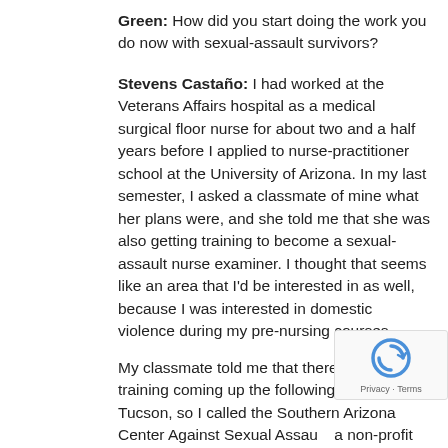Green: How did you start doing the work you do now with sexual-assault survivors?
Stevens Castaño: I had worked at the Veterans Affairs hospital as a medical surgical floor nurse for about two and a half years before I applied to nurse-practitioner school at the University of Arizona. In my last semester, I asked a classmate of mine what her plans were, and she told me that she was also getting training to become a sexual-assault nurse examiner. I thought that seems like an area that I'd be interested in as well, because I was interested in domestic violence during my pre-nursing courses.
My classmate told me that there was a training coming up the following year in Tucson, so I called the Southern Arizona Center Against Sexual Assault, a non-profit organization that serves Southern Arizona...